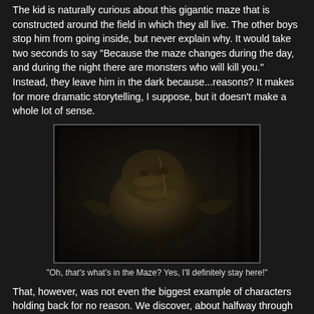The kid is naturally curious about this gigantic maze that is constructed around the field in which they all live. The other boys stop him from going inside, but never explain why. It would take two seconds to say "Because the maze changes during the day, and during the night there are monsters who will kill you." Instead, they leave him in the dark because...reasons? It makes for more dramatic storytelling, I suppose, but it doesn't make a whole lot of sense.
[Figure (photo): A dark, moody image of a grotesque creature or monster from The Maze Runner movie, crouching or lunging in a dark environment.]
"Oh, that's what's in the Maze? Yes, I'll definitely stay here!"
That, however, was not even the biggest example of characters holding back for no reason. We discover, about halfway through the movie, that if a character is "stung" (by what, is not explained until much, much later, we're just